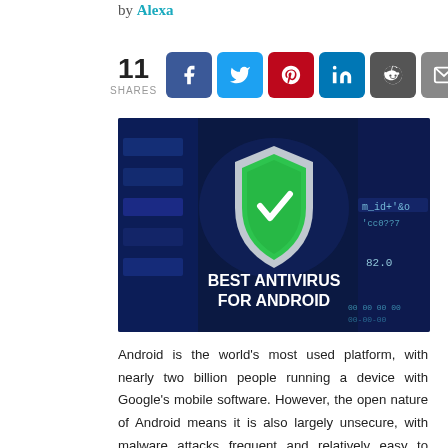by Alexa
[Figure (infographic): Social share buttons showing 11 shares, with Facebook, Twitter, Pinterest, LinkedIn, Reddit, and Email buttons]
[Figure (photo): Dark blue background with code/circuit board imagery, a green shield with white checkmark in center, text reading BEST ANTIVIRUS FOR ANDROID in white bold letters]
Android is the world's most used platform, with nearly two billion people running a device with Google's mobile software. However, the open nature of Android means it is also largely unsecure, with malware attacks frequent and relatively easy to implement. A good way to protect your